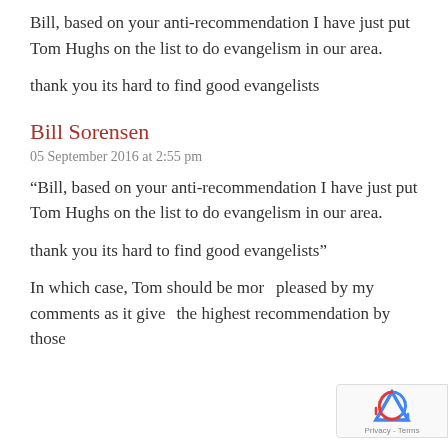Bill, based on your anti-recommendation I have just put Tom Hughs on the list to do evangelism in our area.
thank you its hard to find good evangelists
Bill Sorensen
05 September 2016 at 2:55 pm
“Bill, based on your anti-recommendation I have just put Tom Hughs on the list to do evangelism in our area.
thank you its hard to find good evangelists”
In which case, Tom should be more pleased by my comments as it gives the highest recommendation by those